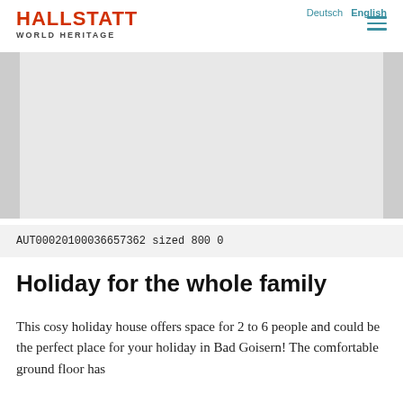Deutsch  English
HALLSTATT
WORLD HERITAGE
[Figure (photo): Image placeholder area with light gray background and darker gray vertical bars on left and right sides]
AUT00020100036657362 sized 800 0
Holiday for the whole family
This cosy holiday house offers space for 2 to 6 people and could be the perfect place for your holiday in Bad Goisern! The comfortable ground floor has